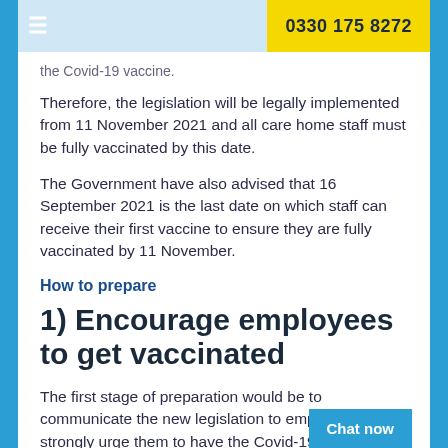☰   0330 175 8272
the Covid-19 vaccine.
Therefore, the legislation will be legally implemented from 11 November 2021 and all care home staff must be fully vaccinated by this date.
The Government have also advised that 16 September 2021 is the last date on which staff can receive their first vaccine to ensure they are fully vaccinated by 11 November.
How to prepare
1) Encourage employees to get vaccinated
The first stage of preparation would be to communicate the new legislation to employees and strongly urge them to have the Covid-19 vaccine if they haven't already.
You should make employees aware of the